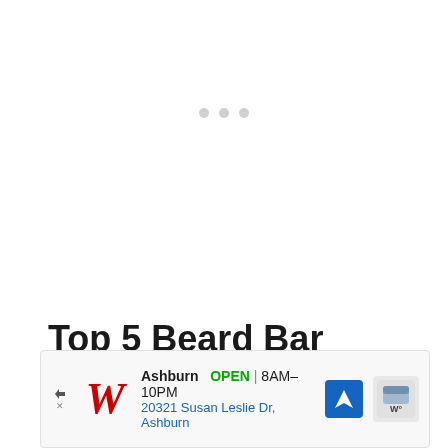[Figure (other): Loading indicator with three small grey dots centered on a white background]
Top 5 Beard Bar Soaps (Summary)
[Figure (other): Advertisement bar: Walgreens store ad showing 'Ashburn OPEN 8AM-10PM 20321 Susan Leslie Dr, Ashburn' with red Walgreens W logo, blue navigation arrow icon, and weather widget]